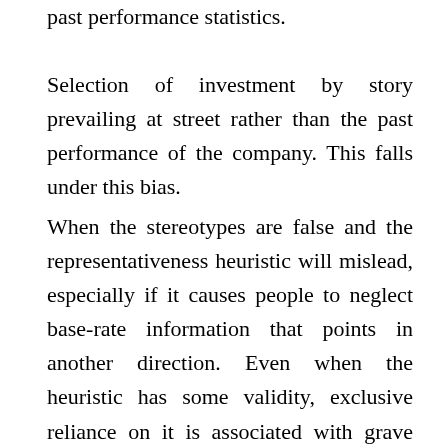past performance statistics.
Selection of investment by story prevailing at street rather than the past performance of the company. This falls under this bias.
When the stereotypes are false and the representativeness heuristic will mislead, especially if it causes people to neglect base-rate information that points in another direction. Even when the heuristic has some validity, exclusive reliance on it is associated with grave sins against statistical logic.